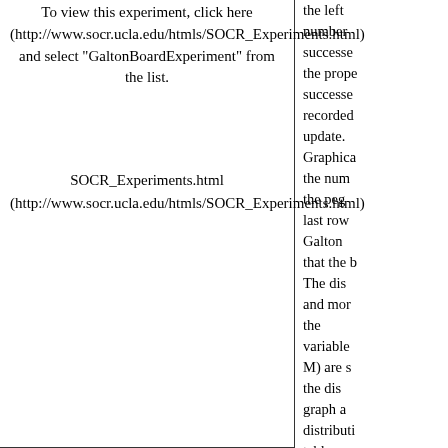To view this experiment, click here (http://www.socr.ucla.edu/htmls/SOCR_Experiments.html) and select "GaltonBoardExperiment" from the list.
SOCR_Experiments.html (http://www.socr.ucla.edu/htmls/SOCR_Experiments.html)
the left number successe the prope successe recorded update. Graphica the num the peg last row Galton that the b The dis and mor the variable M) are s the dis graph a distributi table. paramete